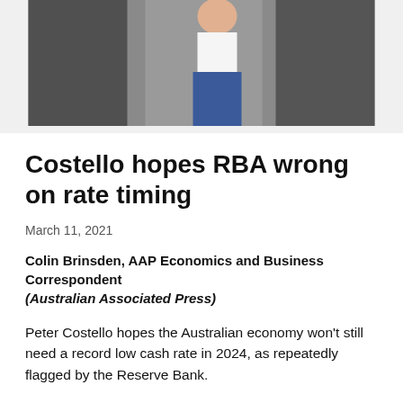[Figure (photo): A person outdoors, partially visible, wearing a white sleeveless top and jeans against a dark background.]
Costello hopes RBA wrong on rate timing
March 11, 2021
Colin Brinsden, AAP Economics and Business Correspondent
(Australian Associated Press)
Peter Costello hopes the Australian economy won’t still need a record low cash rate in 2024, as repeatedly flagged by the Reserve Bank.
Australia’s longest-serving treasurer understands